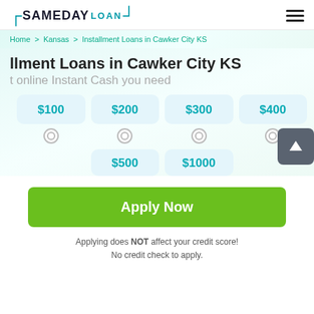[Figure (logo): SameDayLoan logo with teal brackets]
Home > Kansas > Installment Loans in Cawker City KS
Installment Loans in Cawker City KS
Get online Instant Cash you need
$100 $200 $300 $400 $500 $1000 loan amount options
Apply Now
Applying does NOT affect your credit score! No credit check to apply.